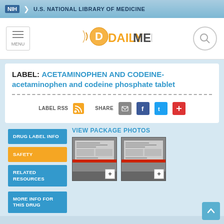U.S. NATIONAL LIBRARY OF MEDICINE
[Figure (logo): DailyMed logo with pill icon]
LABEL: ACETAMINOPHEN AND CODEINE- acetaminophen and codeine phosphate tablet
LABEL RSS   SHARE
VIEW PACKAGE PHOTOS
DRUG LABEL INFO
SAFETY
RELATED RESOURCES
MORE INFO FOR THIS DRUG
[Figure (photo): Package photo 1 of acetaminophen and codeine tablet]
[Figure (photo): Package photo 2 of acetaminophen and codeine tablet]